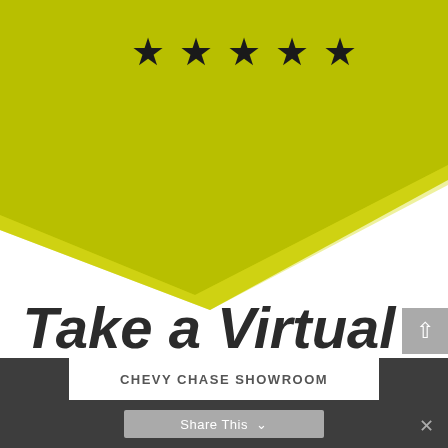[Figure (illustration): Yellow-green angled banner/shape at the top of the page with 5 black star icons centered near the top]
Take a Virtual Tour of our Showrooms!
CHEVY CHASE SHOWROOM
Share This